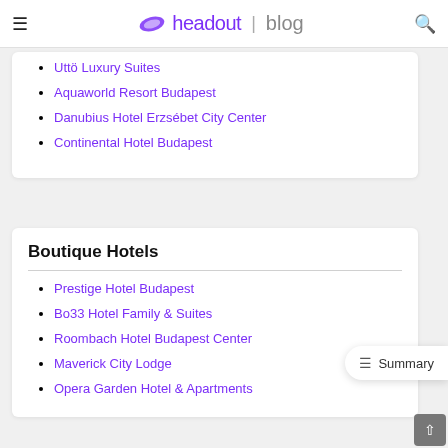≡ headout | blog 🔍
Uttö Luxury Suites
Aquaworld Resort Budapest
Danubius Hotel Erzsébet City Center
Continental Hotel Budapest
Boutique Hotels
Prestige Hotel Budapest
Bo33 Hotel Family & Suites
Roombach Hotel Budapest Center
Maverick City Lodge
Opera Garden Hotel & Apartments